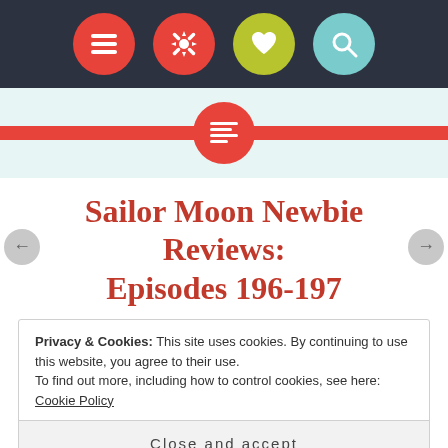[Figure (screenshot): Top navigation bar with four circular icon buttons: menu (red), settings/gear (red), heart/favorite (yellow-green), and search (teal) on dark background]
[Figure (illustration): Hero banner area with light teal background, red horizontal stripe, and a red circle icon with a text/lines icon in the center]
Sailor Moon Newbie Reviews: Episodes 196-197
Privacy & Cookies: This site uses cookies. By continuing to use this website, you agree to their use.
To find out more, including how to control cookies, see here: Cookie Policy
Close and accept